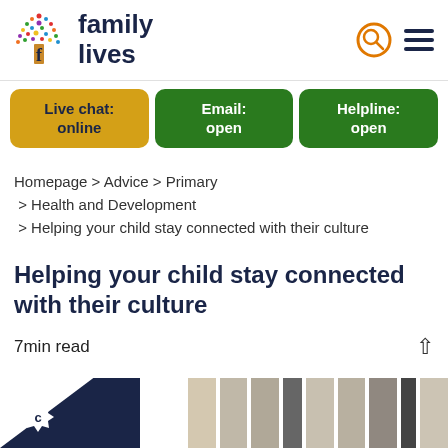[Figure (logo): Family Lives logo with colorful tree and 'f' icon, text reads 'family lives']
Live chat: online
Email: open
Helpline: open
Homepage > Advice > Primary > Health and Development > Helping your child stay connected with their culture
Helping your child stay connected with their culture
7min read
[Figure (photo): Partial photo of people at the bottom of the page, with dark triangle overlay and copyright badge]